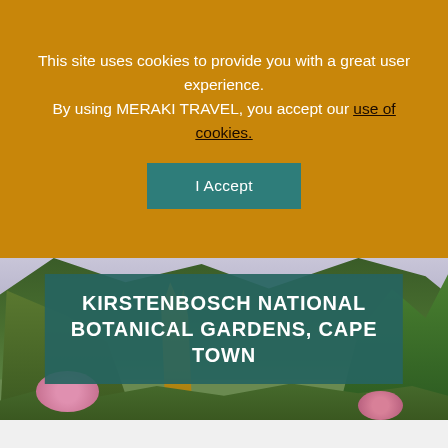This site uses cookies to provide you with a great user experience. By using MERAKI TRAVEL, you accept our use of cookies.
I Accept
[Figure (photo): Botanical garden scene with colorful flowers (yellow and pink), lush green foliage and trees, mountains in the background with a pale sky]
KIRSTENBOSCH NATIONAL BOTANICAL GARDENS, CAPE TOWN